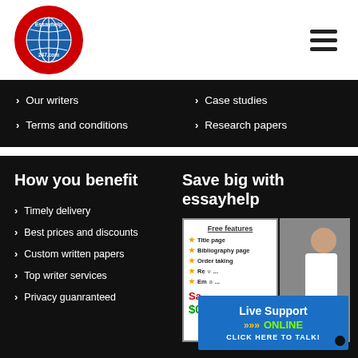[Figure (logo): Essayhelp247.com circular logo with red border and globe icon]
[Figure (illustration): Hamburger menu icon (three horizontal bars)]
Our writers
Terms and conditions
Case studies
Research papers
How you benefit
Timely delivery
Best prices and discounts
Custom written papers
Top writer services
Privacy guanranteed
Save big with essayhelp
[Figure (infographic): Free features box listing Title page, Bibliography page, Order taking, and more with prices, alongside a photo of a woman and a Live Support ONLINE overlay with CLICK HERE TO TALK button]